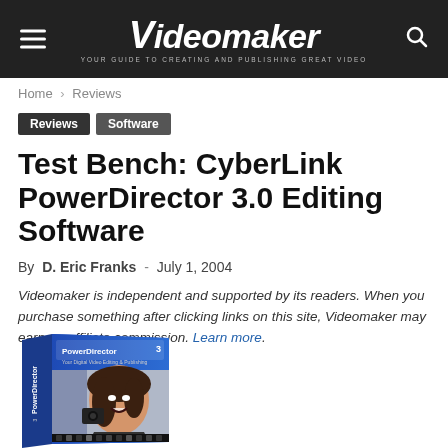Videomaker — YOUR GUIDE TO CREATING AND PUBLISHING GREAT VIDEO
Home › Reviews
Reviews  Software
Test Bench: CyberLink PowerDirector 3.0 Editing Software
By D. Eric Franks - July 1, 2004
Videomaker is independent and supported by its readers. When you purchase something after clicking links on this site, Videomaker may earn an affiliate commission. Learn more.
[Figure (photo): Product box art for CyberLink PowerDirector 3 software showing a woman smiling with a camera]